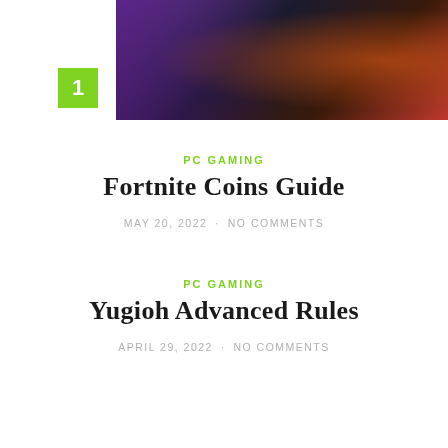[Figure (photo): Gaming keyboard with colorful backlit keys, partial view of hands typing]
PC GAMING
Fortnite Coins Guide
MAY 20, 2022 · NO COMMENTS
PC GAMING
Yugioh Advanced Rules
APRIL 29, 2022 · NO COMMENTS
[Figure (photo): Faded/blurred image with watermark text, possibly a Yu-Gi-Oh card or gaming related image]